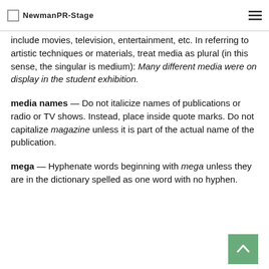NewmanPR-Stage
include movies, television, entertainment, etc. In referring to artistic techniques or materials, treat media as plural (in this sense, the singular is medium): Many different media were on display in the student exhibition.
media names — Do not italicize names of publications or radio or TV shows. Instead, place inside quote marks. Do not capitalize magazine unless it is part of the actual name of the publication.
mega — Hyphenate words beginning with mega unless they are in the dictionary spelled as one word with no hyphen.